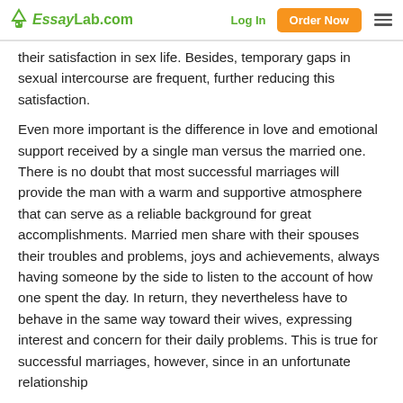EssayLab.com | Log In | Order Now
their satisfaction in sex life. Besides, temporary gaps in sexual intercourse are frequent, further reducing this satisfaction.
Even more important is the difference in love and emotional support received by a single man versus the married one. There is no doubt that most successful marriages will provide the man with a warm and supportive atmosphere that can serve as a reliable background for great accomplishments. Married men share with their spouses their troubles and problems, joys and achievements, always having someone by the side to listen to the account of how one spent the day. In return, they nevertheless have to behave in the same way toward their wives, expressing interest and concern for their daily problems. This is true for successful marriages, however, since in an unfortunate relationship